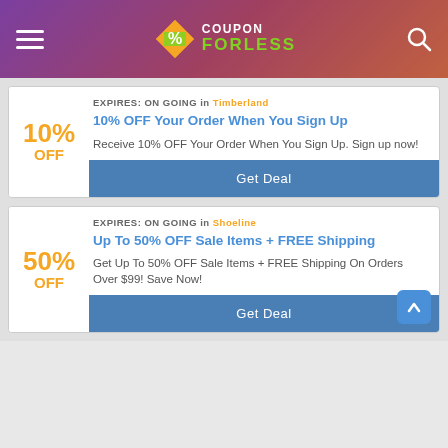COUPON FORLESS
EXPIRES: ON GOING in Timberland
10% OFF Your Order When You Sign Up
Receive 10% OFF Your Order When You Sign Up. Sign up now!
Get Deal
EXPIRES: ON GOING in Shoeline
Up To 50% OFF Sale Items + FREE Shipping
Get Up To 50% OFF Sale Items + FREE Shipping On Orders Over $99! Save Now!
Get Deal